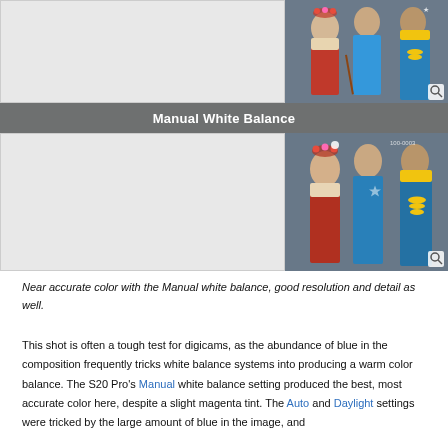[Figure (photo): Top row: left half is a light gray placeholder area; right half shows a photograph of three women in traditional/folk costumes holding violin/instruments against a blue background with a magnify icon overlay.]
Manual White Balance
[Figure (photo): Bottom row: left half is a light gray placeholder area; right half shows the same photograph of three women in traditional/folk costumes with better color accuracy (manual white balance), with a magnify icon overlay.]
Near accurate color with the Manual white balance, good resolution and detail as well.
This shot is often a tough test for digicams, as the abundance of blue in the composition frequently tricks white balance systems into producing a warm color balance. The S20 Pro's Manual white balance setting produced the best, most accurate color here, despite a slight magenta tint. The Auto and Daylight settings were tricked by the large amount of blue in the image, and